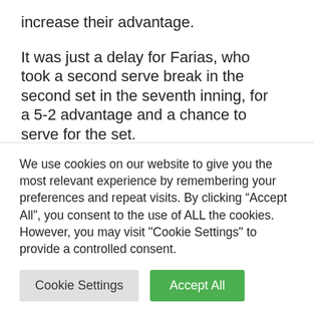increase their advantage.
It was just a delay for Farias, who took a second serve break in the second set in the seventh inning, for a 5-2 advantage and a chance to serve for the set.
Varelas capitalized on an unintentional foul by Auger Aliassime to win the second set on his first...
We use cookies on our website to give you the most relevant experience by remembering your preferences and repeat visits. By clicking “Accept All”, you consent to the use of ALL the cookies. However, you may visit "Cookie Settings" to provide a controlled consent.